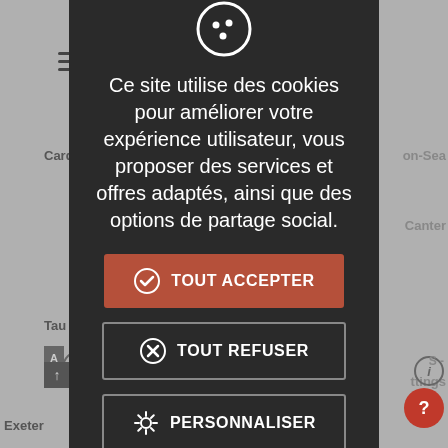[Figure (screenshot): Background map screenshot showing parts of England including Exeter, Torquay, Canterbury labels, partially obscured by cookie consent overlay]
Ce site utilise des cookies pour améliorer votre expérience utilisateur, vous proposer des services et offres adaptés, ainsi que des options de partage social.
TOUT ACCEPTER
TOUT REFUSER
PERSONNALISER